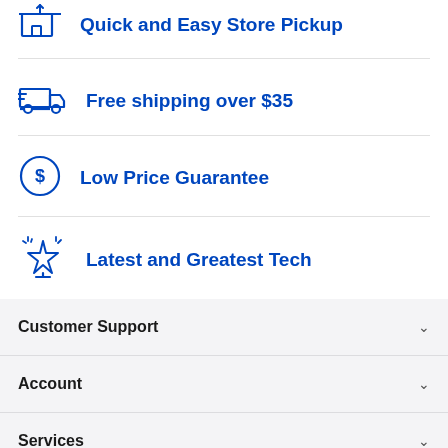Quick and Easy Store Pickup
Free shipping over $35
Low Price Guarantee
Latest and Greatest Tech
Customer Support
Account
Services